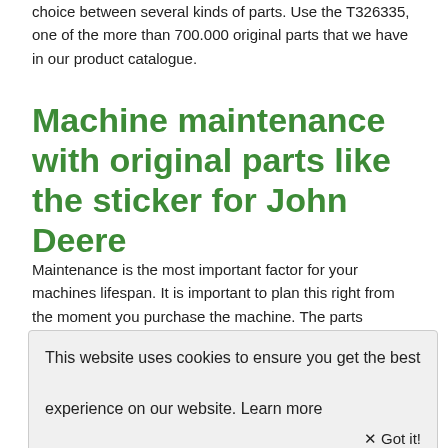choice between several kinds of parts. Use the T326335, one of the more than 700.000 original parts that we have in our product catalogue.
Machine maintenance with original parts like the sticker for John Deere
Maintenance is the most important factor for your machines lifespan. It is important to plan this right from the moment you purchase the machine. The parts manual or machine manual has information about maintenance. If our product
This website uses cookies to ensure you get the best experience on our website. Learn more
✕ Got it!
fits your machine
A good start is half the battle, so ensure that everything is prepared before maintenance and repair work starts. This